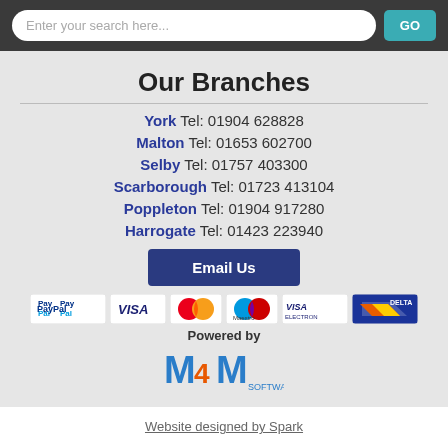Enter your search here... GO
Our Branches
York Tel: 01904 628828
Malton Tel: 01653 602700
Selby Tel: 01757 403300
Scarborough Tel: 01723 413104
Poppleton Tel: 01904 917280
Harrogate Tel: 01423 223940
Email Us
[Figure (logo): Payment method logos: PayPal, VISA, Mastercard, Maestro, Visa Electron, Delta]
Powered by
[Figure (logo): MAM Software logo]
Website designed by Spark